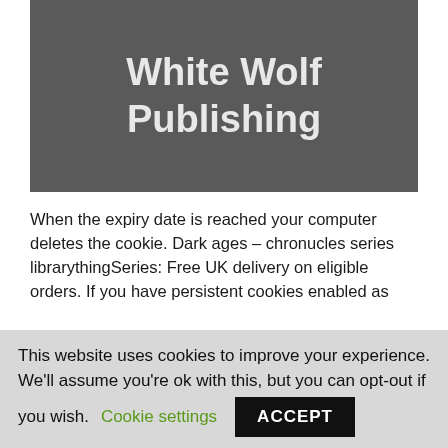[Figure (logo): White Wolf Publishing logo — white bold text on dark grey background]
When the expiry date is reached your computer deletes the cookie. Dark ages – chronucles series librarythingSeries: Free UK delivery on eligible orders. If you have persistent cookies enabled as
This website uses cookies to improve your experience. We'll assume you're ok with this, but you can opt-out if you wish. Cookie settings ACCEPT